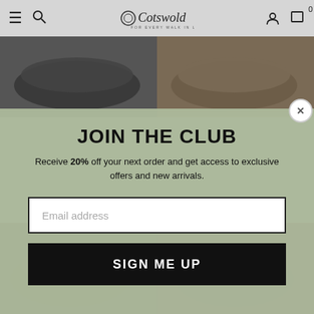[Figure (screenshot): Website navigation bar with hamburger menu, search icon, Cotswold logo, user icon, and cart icon showing 0 items]
[Figure (photo): Two hiking/walking shoes photographed from above at the top of the page background]
JOIN THE CLUB
Receive 20% off your next order and get access to exclusive offers and new arrivals.
Email address
SIGN ME UP
[Figure (photo): Two hiking boots photographed at the bottom of the page - brown/dark red boots on the left and red/berry boots on the right]